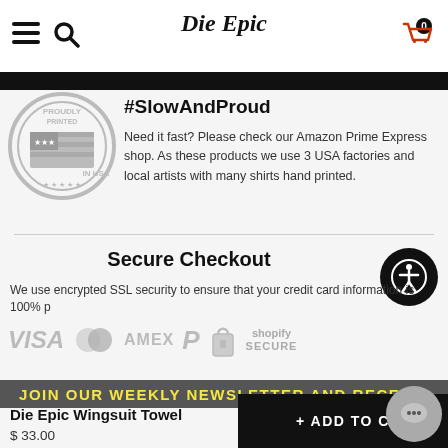[Figure (screenshot): Die Epic store website navigation bar with hamburger menu, search icon, Die Epic logo, and shopping cart with badge showing 0]
[Figure (logo): Proudly Printed in USA circular stamp badge in grey]
#SlowAndProud
Need it fast? Please check our Amazon Prime Express shop. As these products we use 3 USA factories and local artists with many shirts hand printed.
Secure Checkout
We use encrypted SSL security to ensure that your credit card information is 100% p
[Figure (infographic): Payment method icons: VISA, Mastercard, AMEX, PayPal, lock icon, Shopify Secure]
JOIN OUR WEEKLY NEWSLETTER AND RECEIVE
Die Epic Wingsuit Towel
$ 33.00
+ ADD TO C